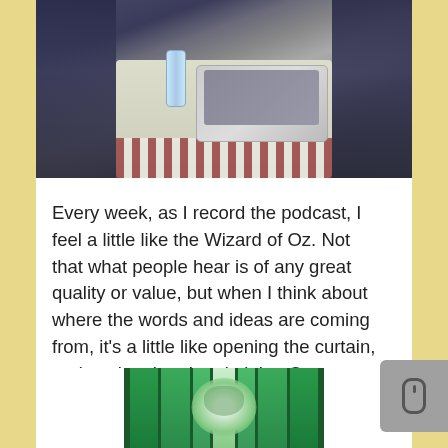[Figure (photo): Photo of a table with a laptop and patterned tablecloth, coats or fabric on either side, viewed from above]
Every week, as I record the podcast, I feel a little like the Wizard of Oz. Not that what people hear is of any great quality or value, but when I think about where the words and ideas are coming from, it's a little like opening the curtain, and seeing that the almighty Oz was anything but that.
[Figure (photo): Image of the Wizard of Oz character — a glowing green face against green curtain-like columns]